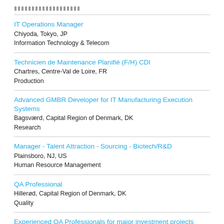▮▮▮▮▮▮▮▮▮▮▮▮▮▮▮▮▮▮▮
IT Operations Manager
Chiyoda, Tokyo, JP
Information Technology & Telecom
Technicien de Maintenance Planifié (F/H) CDI
Chartres, Centre-Val de Loire, FR
Production
Advanced GMBR Developer for IT Manufacturing Execution Systems
Bagsværd, Capital Region of Denmark, DK
Research
Manager - Talent Attraction - Sourcing - Biotech/R&D
Plainsboro, NJ, US
Human Resource Management
QA Professional
Hillerød, Capital Region of Denmark, DK
Quality
Experienced QA Professionals for major investment projects
Kalundborg, Region Zealand, DK
Quality
Digital Project Manager - Data Management Strategy Lead